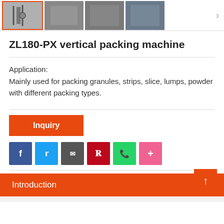[Figure (photo): Horizontal strip of product thumbnail images for ZL180-PX vertical packing machine. First thumbnail selected with orange border.]
ZL180-PX vertical packing machine
Application:
Mainly used for packing granules, strips, slice, lumps, powder with different packing types.
[Figure (other): Inquiry button (orange rectangle)]
[Figure (other): Social share icons row: Facebook, Twitter, Google, Pinterest, WhatsApp, More]
Introduction